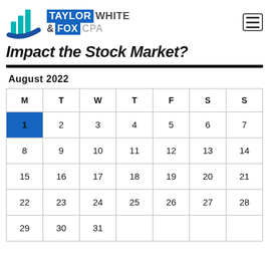[Figure (logo): Taylor White & Fox CPA logo with teal bar chart icon and blue swoosh, company name with TAYLOR and FOX in blue boxes]
Impact the Stock Market?
August 2022
| M | T | W | T | F | S | S |
| --- | --- | --- | --- | --- | --- | --- |
| 1 | 2 | 3 | 4 | 5 | 6 | 7 |
| 8 | 9 | 10 | 11 | 12 | 13 | 14 |
| 15 | 16 | 17 | 18 | 19 | 20 | 21 |
| 22 | 23 | 24 | 25 | 26 | 27 | 28 |
| 29 | 30 | 31 |  |  |  |  |